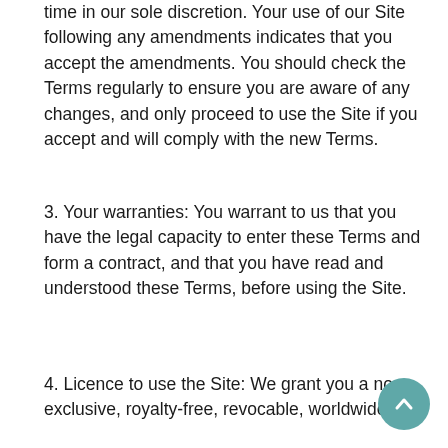time in our sole discretion. Your use of our Site following any amendments indicates that you accept the amendments. You should check the Terms regularly to ensure you are aware of any changes, and only proceed to use the Site if you accept and will comply with the new Terms.
3. Your warranties: You warrant to us that you have the legal capacity to enter these Terms and form a contract, and that you have read and understood these Terms, before using the Site.
4. Licence to use the Site: We grant you a non-exclusive, royalty-free, revocable, worldwide